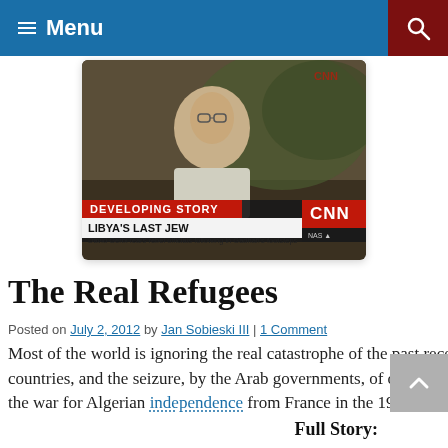Menu
[Figure (screenshot): CNN news screenshot showing a man being interviewed outdoors. Lower-third chyron reads 'DEVELOPING STORY / LIBYA'S LAST JEW / David Gerbi fears rebel officials following in Gadhafi's footsteps'. CNN logo visible.]
The Real Refugees
Posted on July 2, 2012 by Jan Sobieski III | 1 Comment
Most of the world is ignoring the real catastrophe of the past recent era: the brutal expulsion of some 867,000 Jews from Arab countries, and the seizure, by the Arab governments, of over $13-billion worth of Jewish property and assets. Algeria During the war for Algerian independence from France in the 1950s and early 1960s, [...]
Full Story: